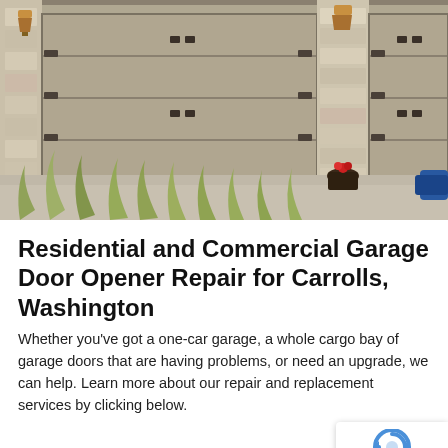[Figure (photo): Exterior photo of a residential home showing two large tan/beige garage doors with decorative hardware, stone pillar in the center, wall-mounted lantern lights, a flower pot on the driveway, and green shrubs/ornamental grasses in the foreground.]
Residential and Commercial Garage Door Opener Repair for Carrolls, Washington
Whether you've got a one-car garage, a whole cargo bay of garage doors that are having problems, or need an upgrade, we can help. Learn more about our repair and replacement services by clicking below.